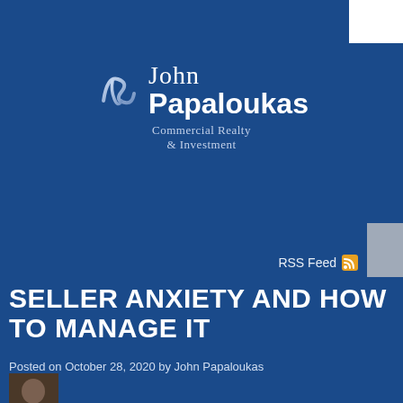[Figure (logo): John Papaloukas Commercial Realty & Investment logo with stylized JP monogram and text]
RSS Feed
SELLER ANXIETY AND HOW TO MANAGE IT
Posted on October 28, 2020 by John Papaloukas
[Figure (photo): Headshot photo of John Papaloukas]